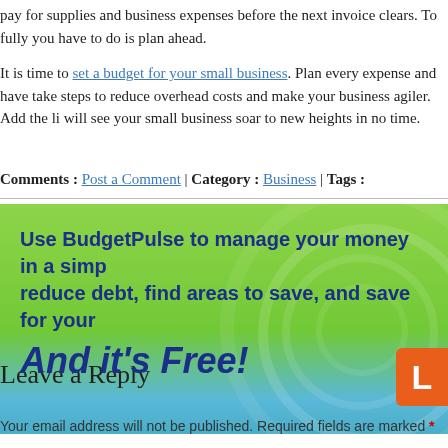pay for supplies and business expenses before the next invoice clears. To fully you have to do is plan ahead.
It is time to set a budget for your small business. Plan every expense and have take steps to reduce overhead costs and make your business agiler. Add the li will see your small business soar to new heights in no time.
Comments : Post a Comment | Category : Business | Tags :
[Figure (infographic): BudgetPulse advertisement banner with green gradient background. Text reads: 'Use BudgetPulse to manage your money in a simp reduce debt, find areas to save, and save for your' and 'And it’s Free!' with an orange button on the right.]
Leave a Reply
Your email address will not be published. Required fields are marked *